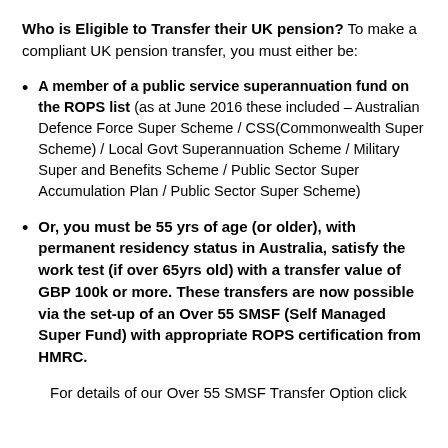Who is Eligible to Transfer their UK pension? To make a compliant UK pension transfer, you must either be:
A member of a public service superannuation fund on the ROPS list (as at June 2016 these included – Australian Defence Force Super Scheme / CSS(Commonwealth Super Scheme) / Local Govt Superannuation Scheme / Military Super and Benefits Scheme / Public Sector Super Accumulation Plan / Public Sector Super Scheme)
Or, you must be 55 yrs of age (or older), with permanent residency status in Australia, satisfy the work test (if over 65yrs old) with a transfer value of GBP 100k or more. These transfers are now possible via the set-up of an Over 55 SMSF (Self Managed Super Fund) with appropriate ROPS certification from HMRC.
For details of our Over 55 SMSF Transfer Option click